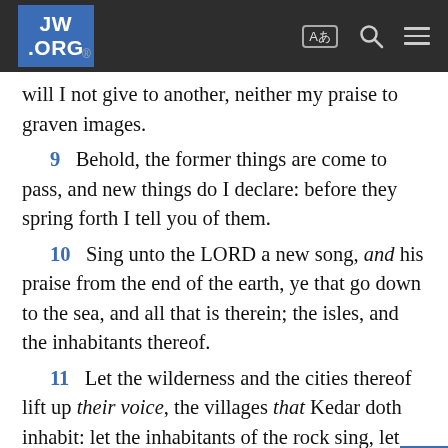JW.ORG
will I not give to another, neither my praise to graven images.
9  Behold, the former things are come to pass, and new things do I declare: before they spring forth I tell you of them.
10  Sing unto the LORD a new song, and his praise from the end of the earth, ye that go down to the sea, and all that is therein; the isles, and the inhabitants thereof.
11  Let the wilderness and the cities thereof lift up their voice, the villages that Kedar doth inhabit: let the inhabitants of the rock sing, let them shout from the top of the mountains.
12  Let them give glory unto the LORD, and declare his praise in the islands.